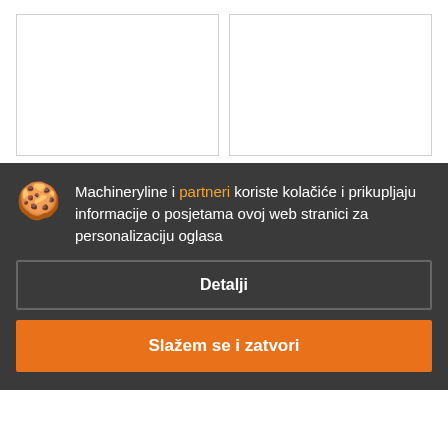[Figure (photo): Two white/blank image placeholders side by side for a KOMATSU D65PX-18 machine listing]
KOMATSU D65PX-18
44 č.
cijena na upit
Buldožer
GODINA: 2022
Ujedinjeno Kraljevstvo, Southampton
Machineryline i partneri koriste kolačiće i prikupljaju informacije o posjetama ovoj web stranici za personalizaciju oglasa
Detalji
Slažem se i zatvori